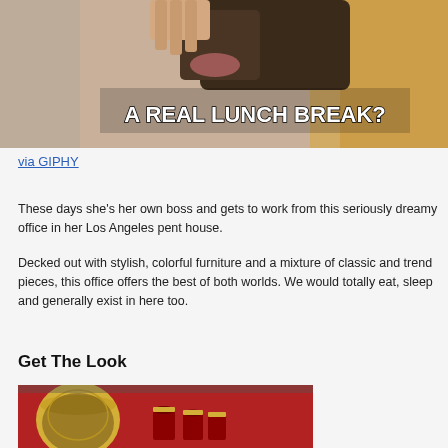[Figure (photo): Woman eating food with text overlay reading 'A REAL LUNCH BREAK?']
via GIPHY
These days she's her own boss and gets to work from this seriously dreamy office in her Los Angeles pent house.
Decked out with stylish, colorful furniture and a mixture of classic and trend pieces, this office offers the best of both worlds. We would totally eat, sleep and generally exist in here too.
Get The Look
[Figure (photo): Gold decorative bowl and red glasses/cups on a red surface]